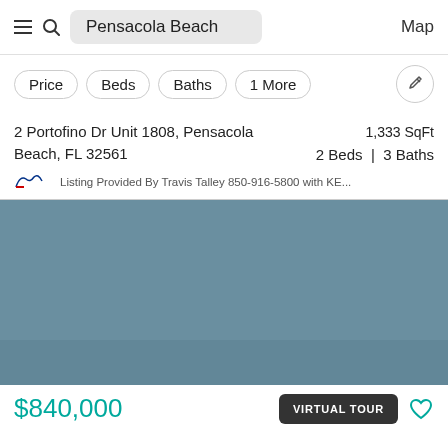Pensacola Beach | Map
Price
Beds
Baths
1 More
2 Portofino Dr Unit 1808, Pensacola Beach, FL 32561
1,333 SqFt
2 Beds | 3 Baths
Listing Provided By Travis Talley 850-916-5800 with KE...
[Figure (photo): Property listing photo showing blue-grey exterior or interior view]
$840,000
VIRTUAL TOUR